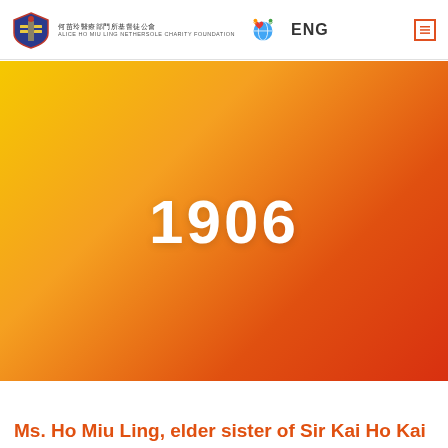何苗玲醫療部門所基督徒公會 ALICE HO MIU LING NETHERSOLE CHARITY FOUNDATION ENG
[Figure (illustration): Large gradient banner from yellow-orange to deep orange-red with the year 1906 displayed in large white bold text centered on it.]
Ms. Ho Miu Ling, elder sister of Sir Kai Ho Kai